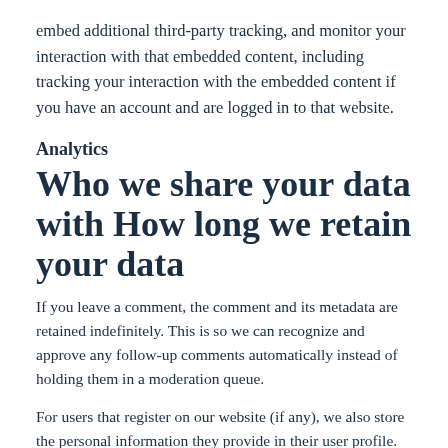embed additional third-party tracking, and monitor your interaction with that embedded content, including tracking your interaction with the embedded content if you have an account and are logged in to that website.
Analytics
Who we share your data with How long we retain your data
If you leave a comment, the comment and its metadata are retained indefinitely. This is so we can recognize and approve any follow-up comments automatically instead of holding them in a moderation queue.
For users that register on our website (if any), we also store the personal information they provide in their user profile.